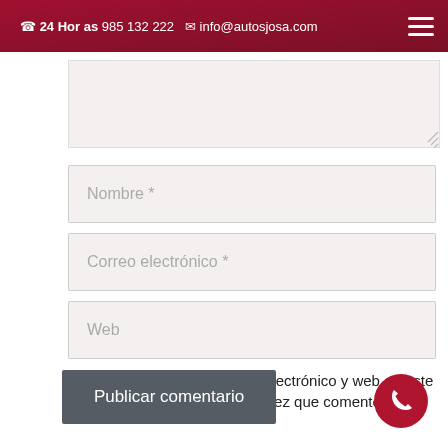☎ 24 Horas 985 132 222  ✉ info@autosjosa.com
[Figure (screenshot): Textarea input field (empty comment box)]
Nombre *
Correo electrónico *
Web
Guarda mi nombre, correo electrónico y web en este navegador para la próxima vez que comente.
Publicar comentario